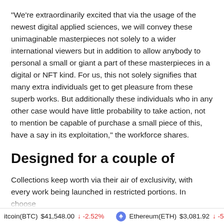“We’re extraordinarily excited that via the usage of the newest digital applied sciences, we will convey these unimaginable masterpieces not solely to a wider international viewers but in addition to allow anybody to personal a small or giant a part of these masterpieces in a digital or NFT kind. For us, this not solely signifies that many extra individuals get to get pleasure from these superb works. But additionally these individuals who in any other case would have little probability to take action, not to mention be capable of purchase a small piece of this, have a say in its exploitation,” the workforce shares.
Designed for a couple of
Collections keep worth via their air of exclusivity, with every work being launched in restricted portions. In choose...
itcoin(BTC) $41,548.00 ↓ -2.52%   Ethereum(ETH) $3,081.92 ↓ -5...